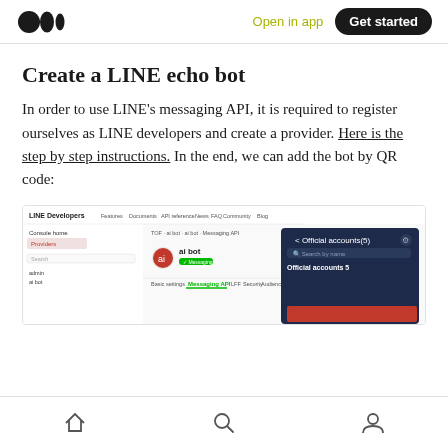Medium logo | Open in app | Get started
Create a LINE echo bot
In order to use LINE's messaging API, it is required to register ourselves as LINE developers and create a provider. Here is the step by step instructions. In the end, we can add the bot by QR code:
[Figure (screenshot): Screenshot of LINE Developers console showing a Messaging API channel named 'ai bot' with Official accounts(5) panel open showing 'Search by name' and 'Official accounts 5']
Home | Search | Profile navigation icons